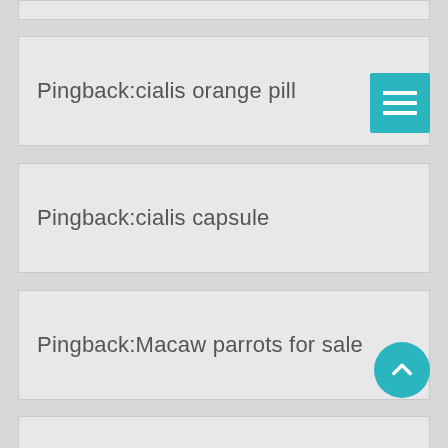Pingback:cialis orange pill
Pingback:cialis capsule
Pingback:Macaw parrots for sale
Pingback:tadalafil cialis 5mg
Pingback:West Highland White Terrier puppy